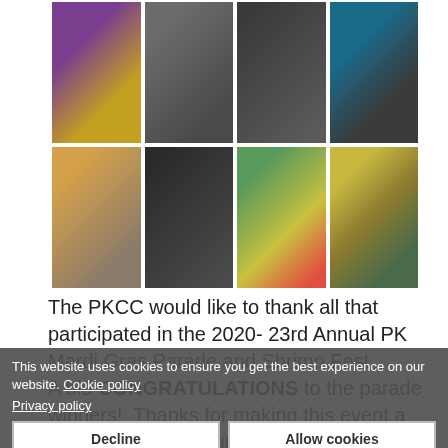[Figure (photo): A 2x4 grid of event photos from the 2020 23rd Annual PK Mardi Gras Parade and Shrimp Fest, showing people in costumes, parade floats, and cooking scenes.]
The PKCC would like to thank all that participated in the 2020- 23rd Annual PK Mardi Gras Parade and Shrimp Fest.
A bid CONGRATULATIONS to the parade winners!  Thanks for making this event a a fun time...great sunny weather and a total of 43 parade floats!!
This website uses cookies to ensure you get the best experience on our website. Cookie policy
Privacy policy
Decline
Allow cookies